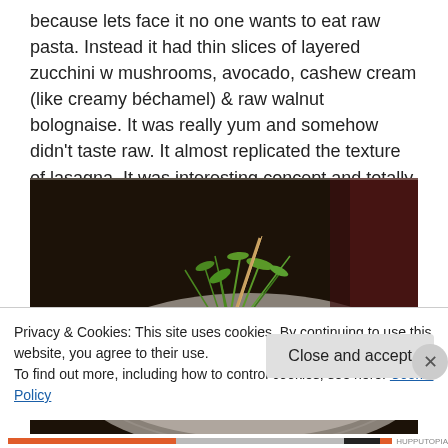because lets face it no one wants to eat raw pasta. Instead it had thin slices of layered zucchini w mushrooms, avocado, cashew cream (like creamy béchamel) & raw walnut bolognaise. It was really yum and somehow didn't taste raw. It almost replicated the texture of lasagna. It was interesting concept and totally delicious.
[Figure (photo): A plate of food garnished with green sprouts/microgreens, appearing to be a layered dish, photographed in a dim restaurant setting.]
Privacy & Cookies: This site uses cookies. By continuing to use this website, you agree to their use.
To find out more, including how to control cookies, see here: Cookie Policy